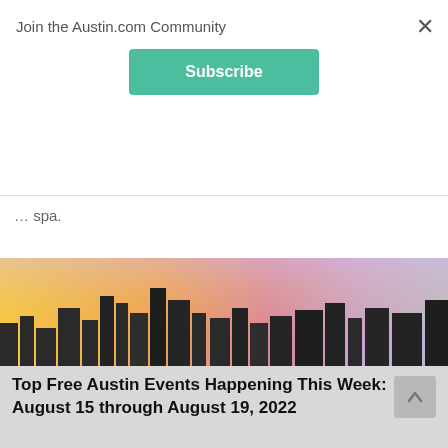Join the Austin.com Community
Subscribe
spa.
[Figure (photo): Austin city skyline at sunset with purple-orange sky, overlaid with a teal banner reading TOP FREE EVENTS THIS WEEK, and subtitle text Free Fun In Austin - August 15, 2022]
Top Free Austin Events Happening This Week: August 15 through August 19, 2022